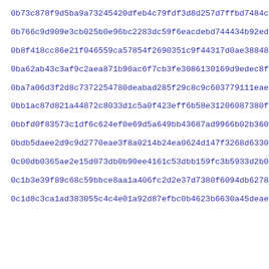0b73c878f9d5ba9a73245420dfeb4c79fdf3d8d257d7ffbd7484ce21c6131
0b766c9d909e3cb025b0e96bc2283dc59f6eacdebd744434b92ed39bc8ff2
0b8f418cc86e21f046559ca57854f2690351c9f44317d0ae38848c14b129d
0ba62ab43c3af9c2aea871b90ac6f7cb3fe3086130169d9edec8f1a347306
0ba7a06d3f2d8c7372254780deabad285f29c8c9c603779111eae0be009c4b
0bb1ac87d821a44872c8033d1c5a0f423eff6b58e31206087380f7584c112
0bbfd0f83573c1df6c624ef0e69d5a649bb43687ad9966b02b3603857b2df
0bdb5daee2d9c9d2770eae3f8a0214b24ea0624d147f3268d63308a558533
0c00db0365ae2e15d073db0b90ee4161c53dbb159fc3b5933d2b0223b30dd
0c1b3e39f89c68c59bbce8aa1a406fc2d2e37d7380f6094db6278086f11f5
0c1d8c3ca1ad383055c4c4e01a92d87efbc0b4623b6630a45deae7f8d2f0e